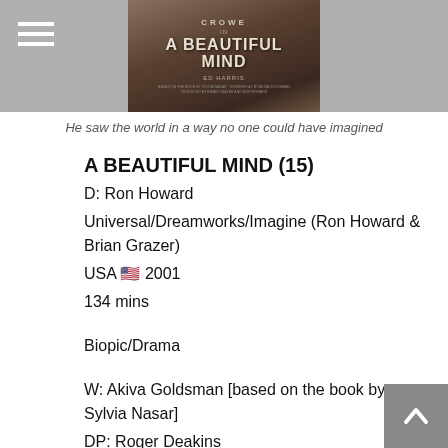[Figure (photo): Movie poster for 'A Beautiful Mind' showing Russell Crowe, with 'A Beautiful Mind' text prominent on the poster and 'Ed Harris' credited at bottom]
He saw the world in a way no one could have imagined
A BEAUTIFUL MIND (15)
D: Ron Howard
Universal/Dreamworks/Imagine (Ron Howard & Brian Grazer)
USA 🇺🇸 2001
134 mins
Biopic/Drama
W: Akiva Goldsman [based on the book by Sylvia Nasar]
DP: Roger Deakins
Ed: Mike Hill & Dan Hanley